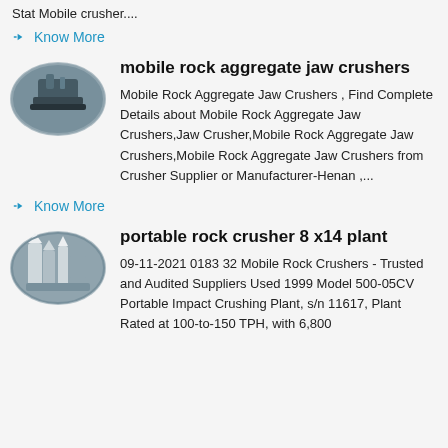Stat Mobile crusher....
Know More
[Figure (photo): Oval-framed photo of a mobile rock aggregate jaw crusher machine in an industrial setting]
mobile rock aggregate jaw crushers
Mobile Rock Aggregate Jaw Crushers , Find Complete Details about Mobile Rock Aggregate Jaw Crushers,Jaw Crusher,Mobile Rock Aggregate Jaw Crushers,Mobile Rock Aggregate Jaw Crushers from Crusher Supplier or Manufacturer-Henan ,...
Know More
[Figure (photo): Oval-framed photo of a portable rock crusher plant with silos and industrial equipment]
portable rock crusher 8 x14 plant
09-11-2021 0183 32 Mobile Rock Crushers - Trusted and Audited Suppliers Used 1999 Model 500-05CV Portable Impact Crushing Plant, s/n 11617, Plant Rated at 100-to-150 TPH, with 6,800